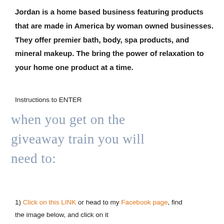Jordan is a home based business featuring products that are made in America by woman owned businesses. They offer premier bath, body, spa products, and mineral makeup. The bring the power of relaxation to your home one product at a time.
Instructions to ENTER
when you get on the giveaway train you will need to:
1) Click on this LINK or head to my Facebook page, find the image below, and click on it